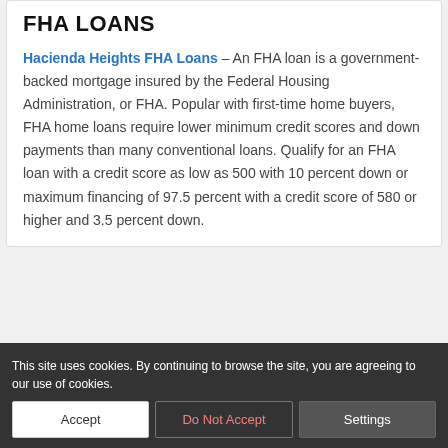FHA LOANS
Hacienda Heights FHA Loans – An FHA loan is a government-backed mortgage insured by the Federal Housing Administration, or FHA. Popular with first-time home buyers, FHA home loans require lower minimum credit scores and down payments than many conventional loans. Qualify for an FHA loan with a credit score as low as 500 with 10 percent down or maximum financing of 97.5 percent with a credit score of 580 or higher and 3.5 percent down.
CONVENTIONAL
all conventional... home mortgages... lines established by Fa... no governme... sponsored enterprises (GSEs) buy home mortgages from...
This site uses cookies. By continuing to browse the site, you are agreeing to our use of cookies.